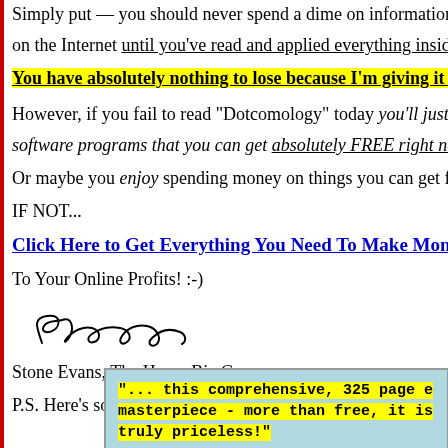Simply put — you should never spend a dime on information, tools or on the Internet until you've read and applied everything inside this gr...
You have absolutely nothing to lose because I'm giving it to you...
However, if you fail to read "Dotcomology" today you'll just end up spe... software programs that you can get absolutely FREE right now. Down...
Or maybe you enjoy spending money on things you can get for free??
IF NOT...
Click Here to Get Everything You Need To Make Money Online No...
To Your Online Profits! :-)
[Figure (illustration): Cursive signature reading 'Stone Evans']
Stone Evans, The Home Biz Guy
P.S. Here's some feedback from "Dotcomology" readers:
"... this comprehensive, 325 page e... masterpiece - more than free, it is... truly priceless!"